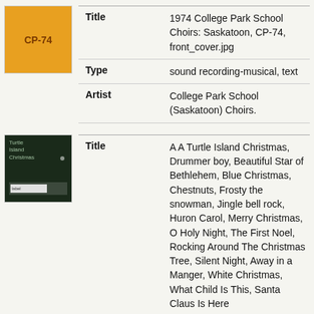| Field | Value |
| --- | --- |
| Title | 1974 College Park School Choirs: Saskatoon, CP-74, front_cover.jpg |
| Type | sound recording-musical, text |
| Artist | College Park School (Saskatoon) Choirs. |
| Field | Value |
| --- | --- |
| Title | A A Turtle Island Christmas, Drummer boy, Beautiful Star of Bethlehem, Blue Christmas, Chestnuts, Frosty the snowman, Jingle bell rock, Huron Carol, Merry Christmas, O Holy Night, The First Noel, Rocking Around The Christmas Tree, Silent Night, Away in a Manger, White Christmas, What Child Is This, Santa Claus Is Here |
| Type | Audio |